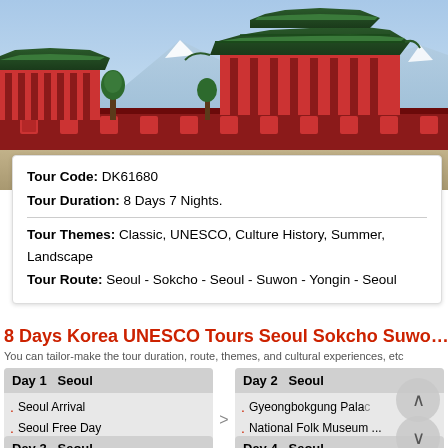[Figure (photo): Korean palace (Gyeongbokgung) with traditional architecture, red pillars, green roof tiles, and snow-capped mountains in the background]
Tour Code: DK61680
Tour Duration: 8 Days 7 Nights.
Tour Themes: Classic, UNESCO, Culture History, Summer, Landscape
Tour Route: Seoul - Sokcho - Seoul - Suwon - Yongin - Seoul
8 Days Korea UNESCO Tours Seoul Sokcho Suwon Yongin
You can tailor-make the tour duration, route, themes, and cultural experiences, etc
| Day 1 Seoul |  | Day 2 Seoul |
| --- | --- | --- |
| Seoul Arrival |  | Gyeongbokgung Palace |
| Seoul Free Day |  | National Folk Museum ... |
|  |  | Jogyesa Temple |
| Day 3 Seoul |  | Day 4 Seoul |
| --- | --- | --- |
| Mt. Seorak National Park |  | Korean Folk Village |
|  |  |  |